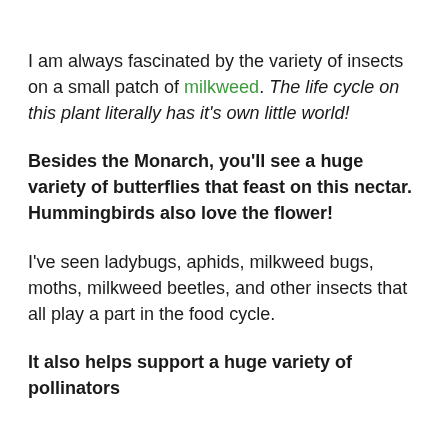I am always fascinated by the variety of insects on a small patch of milkweed. The life cycle on this plant literally has it's own little world!
Besides the Monarch, you'll see a huge variety of butterflies that feast on this nectar. Hummingbirds also love the flower!
I've seen ladybugs, aphids, milkweed bugs, moths, milkweed beetles, and other insects that all play a part in the food cycle.
It also helps support a huge variety of pollinators